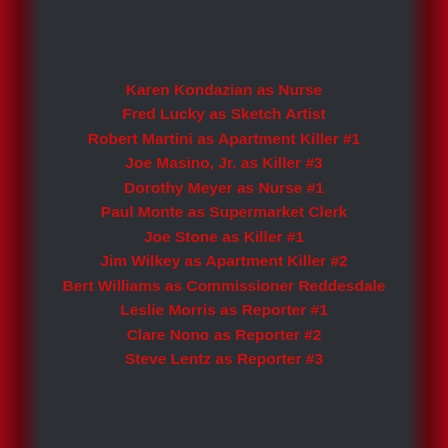Karen Kondazian as Nurse
Fred Lucky as Sketch Artist
Robert Martini as Apartment Killer #1
Joe Masino, Jr. as Killer #3
Dorothy Meyer as Nurse #1
Paul Monte as Supermarket Clerk
Joe Stone as Killer #1
Jim Wilkey as Apartment Killer #2
Bert Williams as Commissioner Reddesdale
Leslie Morris as Reporter #1
Clare Nono as Reporter #2
Steve Lentz as Reporter #3